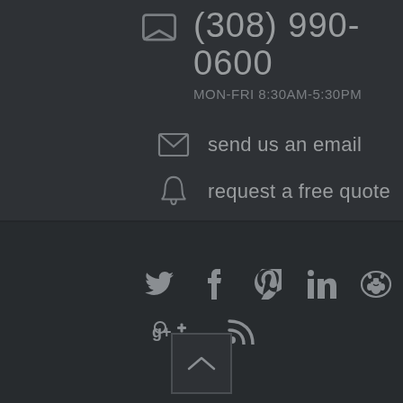(308) 990-0600
MON-FRI 8:30AM-5:30PM
send us an email
request a free quote
[Figure (infographic): Social media icons: Twitter, Facebook, Pinterest, LinkedIn, GitHub (Octocat), Google+, RSS feed]
[Figure (other): Back to top button with upward chevron arrow]